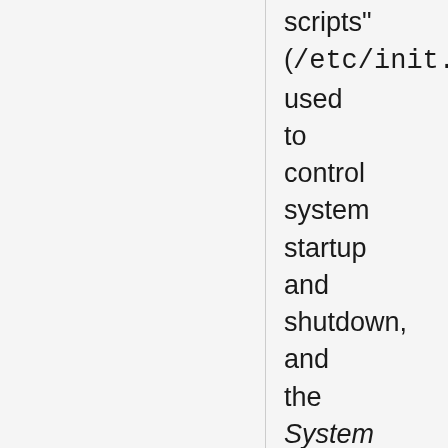scripts" (/etc/init.d), used to control system startup and shutdown, and the System V Interface Definition